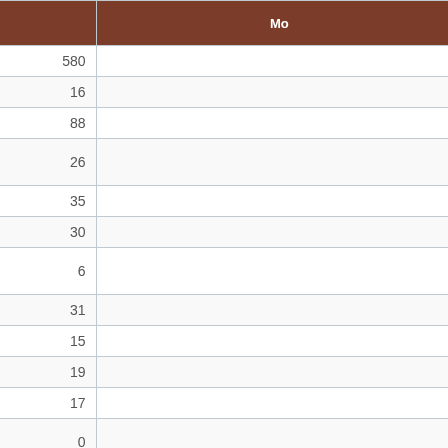| Precinct | (Omroa) Bhagwandin | Mo... |
| --- | --- | --- |
| Total | 580 |  |
| Agate | 16 |  |
| Alpha | 88 |  |
| Big Bottom | 26 |  |
| Cinebar | 35 |  |
| Cowlitz | 30 |  |
| Drews Prairie | 6 |  |
| Ethel | 31 |  |
| Forest | 15 |  |
| Harmony | 19 |  |
| Jackson | 17 |  |
| Jackson North | 0 |  |
| Klickitat | 12 |  |
| Mineral | 5 |  |
| Onalaska | 107 |  |